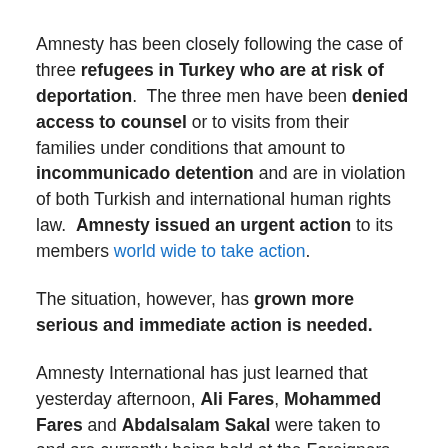Amnesty has been closely following the case of three refugees in Turkey who are at risk of deportation. The three men have been denied access to counsel or to visits from their families under conditions that amount to incommunicado detention and are in violation of both Turkish and international human rights law. Amnesty issued an urgent action to its members world wide to take action.
The situation, however, has grown more serious and immediate action is needed.
Amnesty International has just learned that yesterday afternoon, Ali Fares, Mohammed Fares and Abdalsalam Sakal were taken to and are currently being held at the Foreigners Branch of the Ankara Security Directorate. We understand they are being asked to agree to 'voluntary